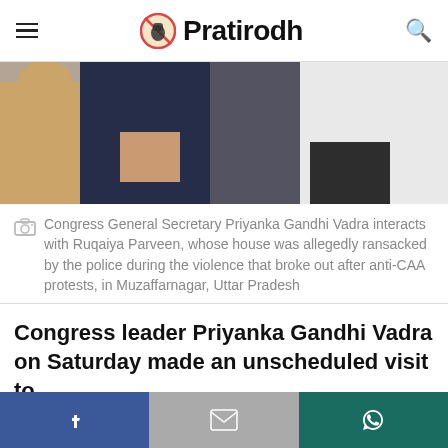Pratirodh
[Figure (photo): Photo of Congress General Secretary Priyanka Gandhi Vadra interacting with Ruqaiya Parveen]
Congress General Secretary Priyanka Gandhi Vadra interacts with Ruqaiya Parveen, whose house was allegedly ransacked by the police during the violence that broke out after anti-CAA protests, in Muzaffarnagar, Uttar Pradesh
Congress leader Priyanka Gandhi Vadra on Saturday made an unscheduled visit to
This website uses cookies.
Facebook | Gmail | WhatsApp